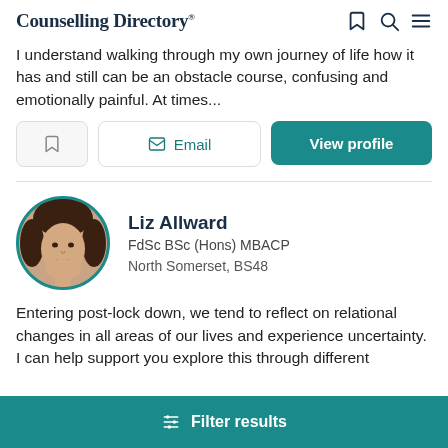Counselling Directory
I understand walking through my own journey of life how it has and still can be an obstacle course, confusing and emotionally painful.  At times...
[Figure (screenshot): Action buttons: bookmark icon, Email button, View profile button]
[Figure (photo): Profile photo of Liz Allward, circular crop with teal border]
Liz Allward
FdSc BSc (Hons) MBACP
North Somerset, BS48
Entering post-lock down, we tend to reflect on relational changes in all areas of our lives and experience uncertainty. I can help support you explore this through different
Filter results